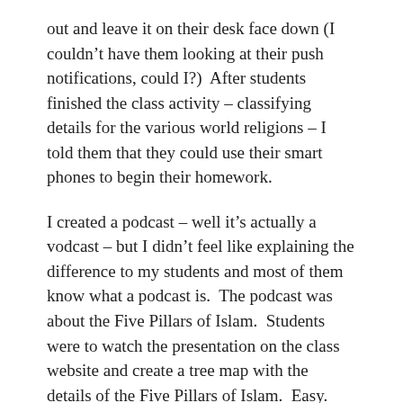out and leave it on their desk face down (I couldn't have them looking at their push notifications, could I?)  After students finished the class activity – classifying details for the various world religions – I told them that they could use their smart phones to begin their homework.
I created a podcast – well it's actually a vodcast – but I didn't feel like explaining the difference to my students and most of them know what a podcast is.  The podcast was about the Five Pillars of Islam.  Students were to watch the presentation on the class website and create a tree map with the details of the Five Pillars of Islam.  Easy.  Right?  No.
First of all, the videos only seemed to work on iPhones.  Not Androids.